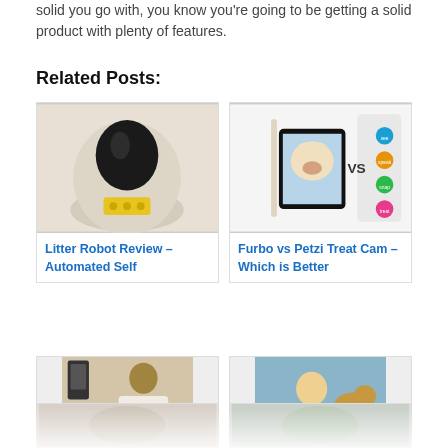solid you go with, you know you're going to be getting a solid product with plenty of features.
Related Posts:
[Figure (photo): Litter Robot automated self-cleaning litter box, beige dome shape with black opening and yellow control panel]
Litter Robot Review – Automated Self
[Figure (photo): Furbo vs Petzi Treat Cam comparison image showing a phone with a dog on screen, vs text, and icons for see, speak, snap, treat]
Furbo vs Petzi Treat Cam – Which is Better
[Figure (photo): Woman in white shirt smiling with a device mounted on wall behind her]
[Figure (photo): Person with a golden dog, smiling, near water]
[Figure (photo): Partial image of a cat or animal, bottom row partially visible]
[Figure (photo): Partial image, bottom row partially visible]